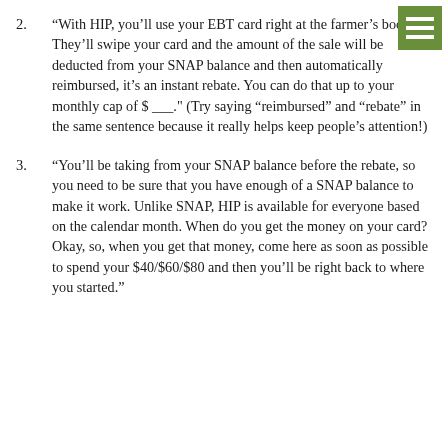2. “With HIP, you’ll use your EBT card right at the farmer’s booth. They’ll swipe your card and the amount of the sale will be deducted from your SNAP balance and then automatically reimbursed, it’s an instant rebate. You can do that up to your monthly cap of $ ___.” (Try saying “reimbursed” and “rebate” in the same sentence because it really helps keep people’s attention!)
3. “You’ll be taking from your SNAP balance before the rebate, so you need to be sure that you have enough of a SNAP balance to make it work. Unlike SNAP, HIP is available for everyone based on the calendar month. When do you get the money on your card? Okay, so, when you get that money, come here as soon as possible to spend your $40/$60/$80 and then you’ll be right back to where you started.”